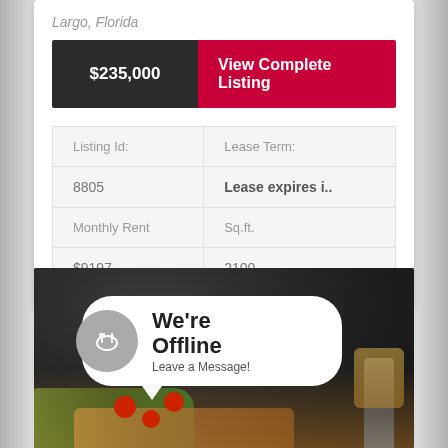Largo, Florida
$235,000
View Complete Listing
| Listing Id: | Lease Term: |
| --- | --- |
| 8805 | Lease expires i.. |
| Monthly Rent | Sq.ft. |
| $9197, | 2100, |
[Figure (photo): Restaurant food photo background with a chat bubble overlay showing a restaurant icon (plate with fork and knife) and text: We're Offline Leave a Message!]